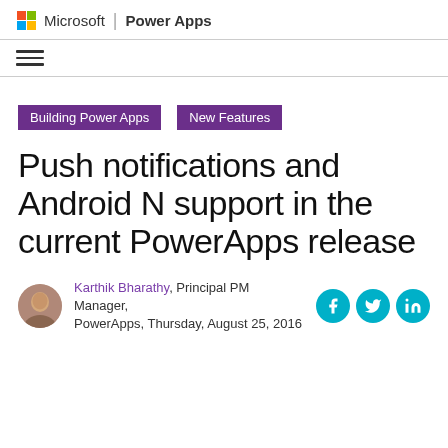Microsoft | Power Apps
[Figure (logo): Microsoft logo (four colored squares: red, green, blue, yellow) followed by 'Microsoft | Power Apps' header text]
Hamburger navigation menu icon
Building Power Apps
New Features
Push notifications and Android N support in the current PowerApps release
Karthik Bharathy, Principal PM Manager, PowerApps, Thursday, August 25, 2016